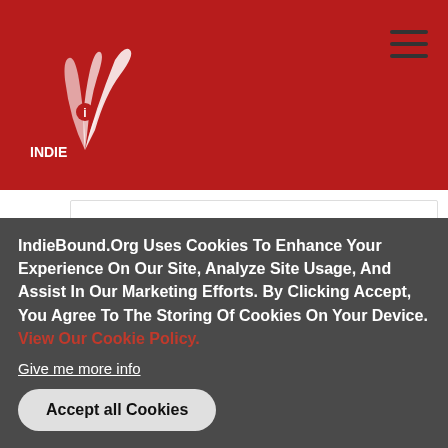IndieBound logo and navigation header
Scrawl Books
11911 Freedom Drive
Reston, VA 20190
571-313-1158
9.4 mi
IndieBound.Org Uses Cookies To Enhance Your Experience On Our Site, Analyze Site Usage, And Assist In Our Marketing Efforts. By Clicking Accept, You Agree To The Storing Of Cookies On Your Device. View Our Cookie Policy.
Give me more info
Accept all Cookies